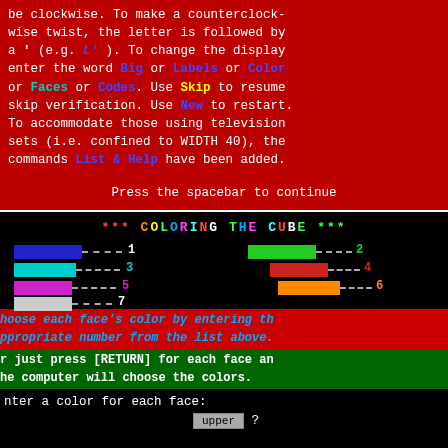[Figure (screenshot): Red background computer terminal screen showing text about clockwise/counterclockwise cube commands, with colored keywords (Big, Labels, Color, Faces, Codes, Skip, New, List & Help) and a 'Press the spacebar to continue' message at the bottom.]
[Figure (screenshot): Black background screen showing 'COLORING THE CUBE' title in multicolored letters, color bar legend numbered 1-7, colored instruction text on red/green backgrounds, and an 'Enter a color for each face: upper ?' prompt.]